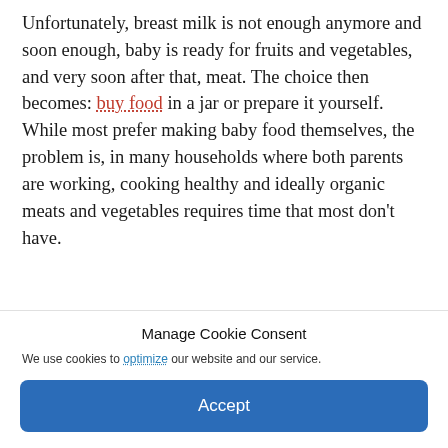Unfortunately, breast milk is not enough anymore and soon enough, baby is ready for fruits and vegetables, and very soon after that, meat. The choice then becomes: buy food in a jar or prepare it yourself. While most prefer making baby food themselves, the problem is, in many households where both parents are working, cooking healthy and ideally organic meats and vegetables requires time that most don't have.
Manage Cookie Consent
We use cookies to optimize our website and our service.
Accept